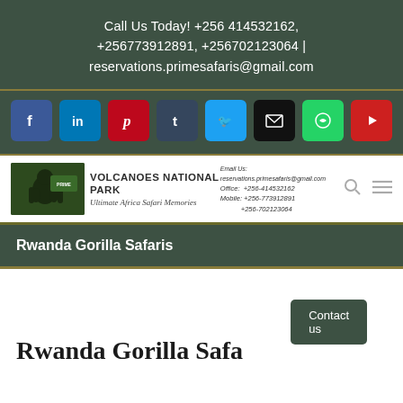Call Us Today! +256 414532162, +256773912891, +256702123064 | reservations.primesafaris@gmail.com
[Figure (infographic): Social media icon buttons: Facebook, LinkedIn, Pinterest, Tumblr, Twitter, Email, WhatsApp, YouTube]
[Figure (logo): Volcanoes National Park website header with logo image, site title, tagline 'Ultimate Africa Safari Memories', and contact info on right with search and menu icons]
Rwanda Gorilla Safaris
Rwanda Gorilla Safa...a
Contact us